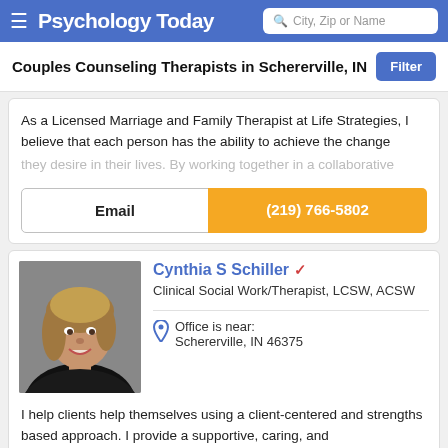Psychology Today — City, Zip or Name
Couples Counseling Therapists in Schererville, IN
As a Licensed Marriage and Family Therapist at Life Strategies, I believe that each person has the ability to achieve the change they desire in their lives. By working together in a collaborative
Email
(219) 766-5802
Cynthia S Schiller
Clinical Social Work/Therapist, LCSW, ACSW
Office is near:
Schererville, IN 46375
I help clients help themselves using a client-centered and strengths based approach. I provide a supportive, caring, and empathic environment. The therapeutic relationship that